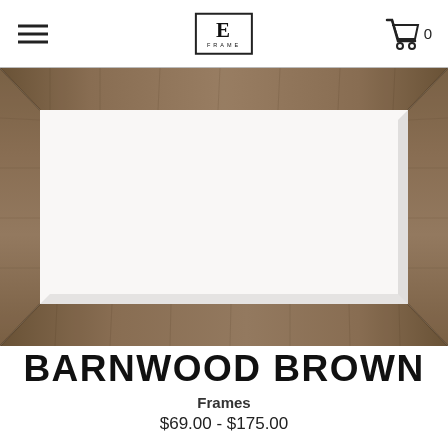E FRAME — navigation header with hamburger menu, logo, and cart icon showing 0
[Figure (photo): Barnwood brown picture frame shown as a rectangular frame with wood-grain texture in a warm brown color, displayed against a white background. The frame has a wide molding and the center is open/white.]
BARNWOOD BROWN
Frames
$69.00 - $175.00